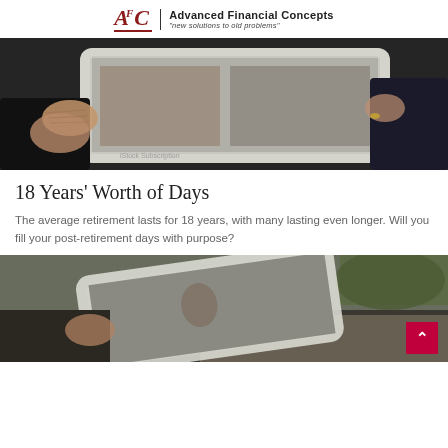Advanced Financial Concepts — "new solutions to old problems"
[Figure (photo): Close-up of elderly hands holding a tablet device, dark background]
18 Years' Worth of Days
The average retirement lasts for 18 years, with many lasting even longer. Will you fill your post-retirement days with purpose?
[Figure (photo): Tablet device held outdoors, partially visible, with a scroll-to-top button overlay in red]